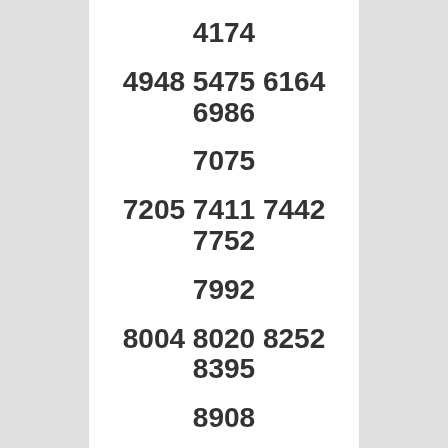4174
4948 5475 6164 6986
7075
7205 7411 7442 7752
7992
8004 8020 8252 8395
8908
6th Prize- Rs. 500/-
0003 0583 0931 1465